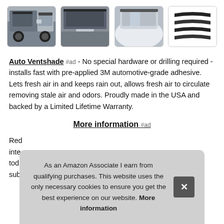[Figure (photo): Four product thumbnail images of Auto Ventshade window deflectors: car with installed deflectors, car door close-up, white car with deflector, and standalone deflector strips on white background]
Auto Ventshade #ad - No special hardware or drilling required - installs fast with pre-applied 3M automotive-grade adhesive. Lets fresh air in and keeps rain out, allows fresh air to circulate removing stale air and odors. Proudly made in the USA and backed by a Limited Lifetime Warranty.
More information #ad
Red... inte... toda... sub...
As an Amazon Associate I earn from qualifying purchases. This website uses the only necessary cookies to ensure you get the best experience on our website. More information